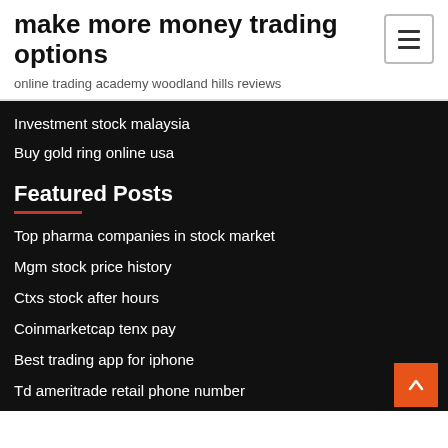make more money trading options
online trading academy woodland hills reviews
Investment stock malaysia
Buy gold ring online usa
Featured Posts
Top pharma companies in stock market
Mgm stock price history
Ctxs stock after hours
Coinmarketcap tenx pay
Best trading app for iphone
Td ameritrade retail phone number